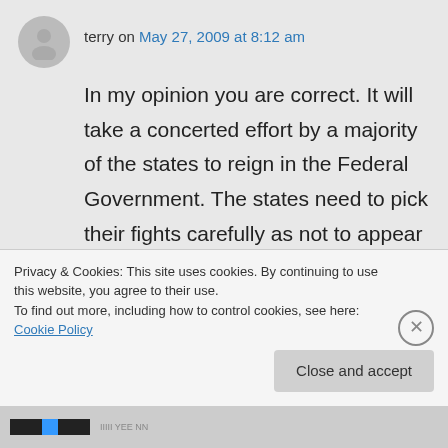terry on May 27, 2009 at 8:12 am
In my opinion you are correct. It will take a concerted effort by a majority of the states to reign in the Federal Government. The states need to pick their fights carefully as not to appear to be the states of “no” as the Republican party has been branded. The states need to refuse Federal dollars. In many ways most states are like welfare recipients…they rely on the Fed to keep
Privacy & Cookies: This site uses cookies. By continuing to use this website, you agree to their use.
To find out more, including how to control cookies, see here: Cookie Policy
Close and accept